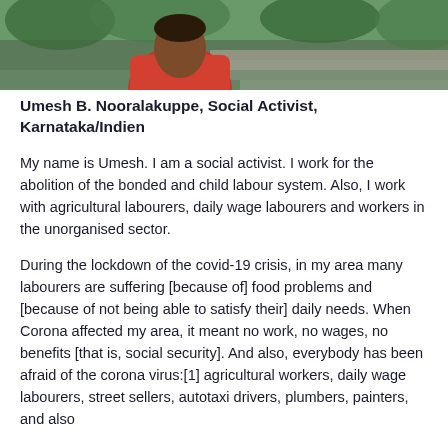[Figure (photo): Photograph of Umesh B. Nooralakuppe, a person wearing a red/orange top, seated outdoors near stone steps with greenery in the background]
Umesh B. Nooralakuppe, Social Activist, Karnataka/Indien
My name is Umesh. I am a social activist. I work for the abolition of the bonded and child labour system. Also, I work with agricultural labourers, daily wage labourers and workers in the unorganised sector.
During the lockdown of the covid-19 crisis, in my area many labourers are suffering [because of] food problems and [because of not being able to satisfy their] daily needs. When Corona affected my area, it meant no work, no wages, no benefits [that is, social security]. And also, everybody has been afraid of the corona virus:[1] agricultural workers, daily wage labourers, street sellers, autotaxi drivers, plumbers, painters, and also